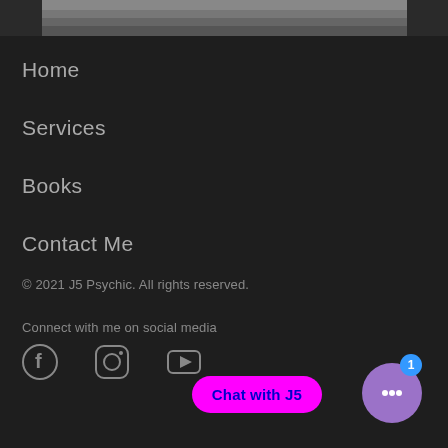[Figure (photo): Partial grayscale photo of a person at the top of the page]
Home
Services
Books
Contact Me
© 2021 J5 Psychic. All rights reserved.
Connect with me on social media
[Figure (illustration): Social media icons: Facebook, Instagram, YouTube]
[Figure (screenshot): Chat with J5 button (magenta) and chat bubble widget (purple with badge 1)]